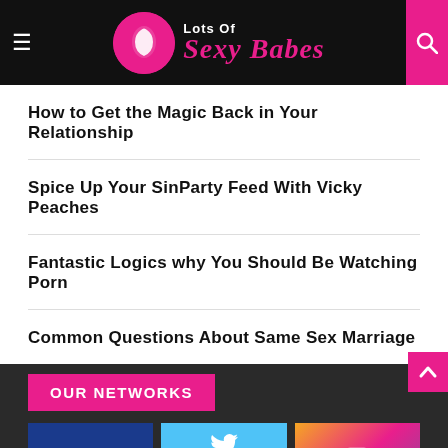Lots Of Sexy Babes
How to Get the Magic Back in Your Relationship
Spice Up Your SinParty Feed With Vicky Peaches
Fantastic Logics why You Should Be Watching Porn
Common Questions About Same Sex Marriage
OUR NETWORKS
[Figure (infographic): Social media network icons: Facebook (blue box with f icon), Twitter (light blue box with bird icon, 70.7k Followers), Instagram (gradient box with camera icon)]
[Figure (infographic): Bottom row of social media boxes: red-orange, red, and blue colored boxes]